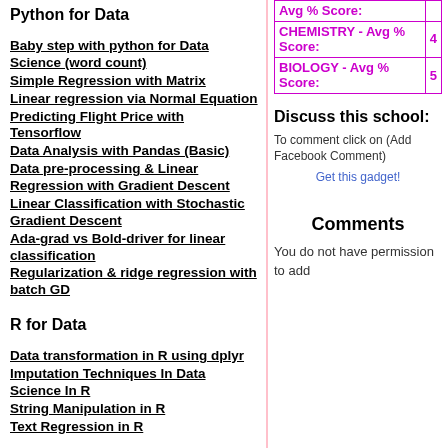Python for Data
Baby step with python for Data Science (word count)
Simple Regression with Matrix
Linear regression via Normal Equation
Predicting Flight Price with Tensorflow
Data Analysis with Pandas (Basic)
Data pre-processing & Linear Regression with Gradient Descent
Linear Classification with Stochastic Gradient Descent
Ada-grad vs Bold-driver for linear classification
Regularization & ridge regression with batch GD
R for Data
Data transformation in R using dplyr
Imputation Techniques In Data Science In R
String Manipulation in R
|  | Avg % Score: |
| --- | --- |
| CHEMISTRY - Avg % Score: | 4 |
| BIOLOGY - Avg % Score: | 5 |
Discuss this school:
To comment click on (Add Facebook Comment)
Get this gadget!
Comments
You do not have permission to add